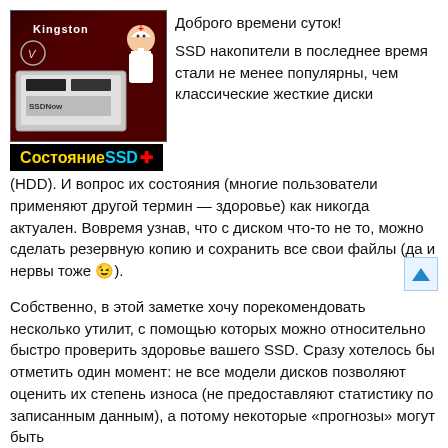[Figure (illustration): Kingston SSD drive product image with a nurse/doctor icon and yellow/cyan 'Состояние SSD' label on black background]
Доброго времени суток!
SSD накопители в последнее время стали не менее популярны, чем классические жесткие диски (HDD). И вопрос их состояния (многие пользователи применяют другой термин — здоровье) как никогда актуален. Вовремя узнав, что с диском что-то не то, можно сделать резервную копию и сохранить все свои файлы (да и нервы тоже 😉).
Собственно, в этой заметке хочу порекомендовать несколько утилит, с помощью которых можно относительно быстро проверить здоровье вашего SSD. Сразу хотелось бы отметить один момент: не все модели дисков позволяют оценить их степень износа (не предоставляют статистику по записанным данным), а потому некоторые «прогнозы» могут быть